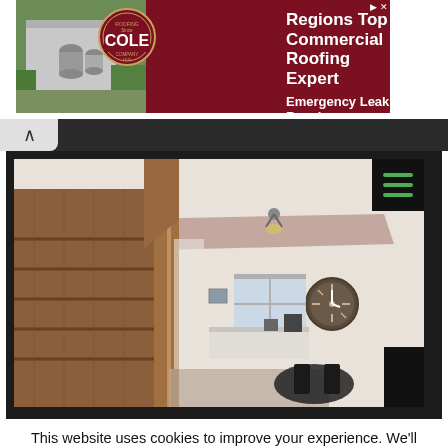[Figure (advertisement): Cole Roofing Company ad banner showing aerial view of commercial building with dark red background. Text reads: Regions Top Commercial Roofing Expert, Emergency Leak Repair]
[Figure (screenshot): Browser/app interface showing interior photo of a home with wooden staircase, pink beam on ceiling, kitchen in background, round clock on wall, dining table with black chairs. Hamburger menu icon visible top right.]
This website uses cookies to improve your experience. We'll assume you're ok with this, but you can opt-out if you wish.
Accept   Read More